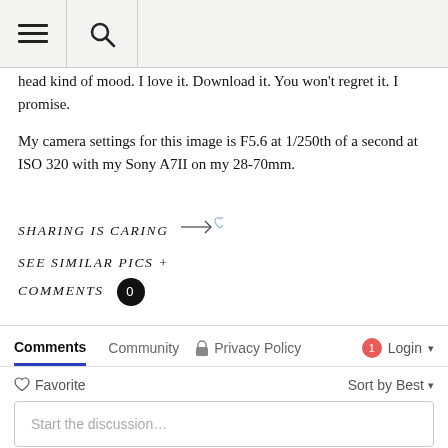[hamburger menu icon] [search icon]
head kind of mood. I love it. Download it. You won't regret it. I promise.
My camera settings for this image is F5.6 at 1/250th of a second at ISO 320 with my Sony A7II on my 28-70mm.
SHARING IS CARING →♡
SEE SIMILAR PICS +
COMMENTS 0
Comments  Community  🔒 Privacy Policy  1  Login ▾
♡ Favorite  Sort by Best ▾
Start the discussion…